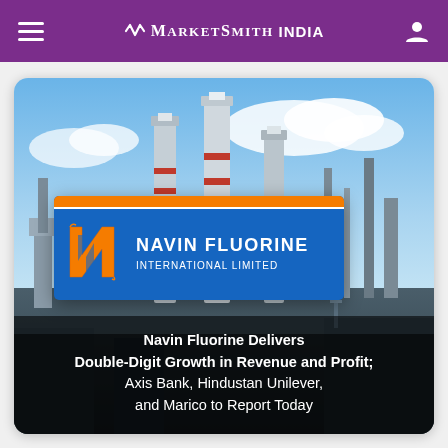MarketSmith India
[Figure (photo): Industrial chemical plant / refinery with tall columns and blue sky background. Navin Fluorine International Limited logo overlay in center. Headline text at bottom: 'Navin Fluorine Delivers Double-Digit Growth in Revenue and Profit; Axis Bank, Hindustan Unilever, and Marico to Report Today']